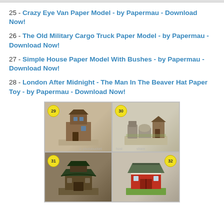25 - Crazy Eye Van Paper Model - by Papermau - Download Now!
26 - The Old Military Cargo Truck Paper Model - by Papermau - Download Now!
27 - Simple House Paper Model With Bushes - by Papermau - Download Now!
28 - London After Midnight - The Man In The Beaver Hat Paper Toy - by Papermau - Download Now!
[Figure (photo): 2x2 grid of paper model images numbered 29-32. Item 29: a tall rustic tower/building paper model. Item 30: stone ruins/outhouse paper model scene. Item 31: dark pagoda/pavilion paper model. Item 32: red barn/shed paper model. Photobucket watermark visible.]